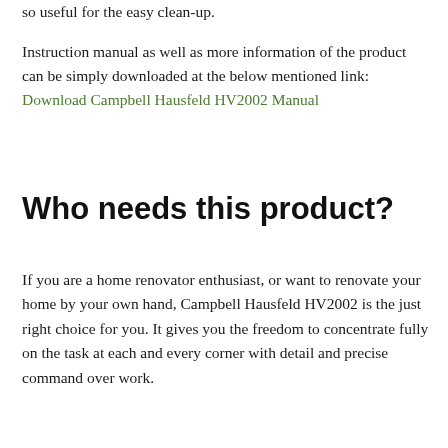so useful for the easy clean-up.
Instruction manual as well as more information of the product can be simply downloaded at the below mentioned link: Download Campbell Hausfeld HV2002 Manual
Who needs this product?
If you are a home renovator enthusiast, or want to renovate your home by your own hand, Campbell Hausfeld HV2002 is the just right choice for you. It gives you the freedom to concentrate fully on the task at each and every corner with detail and precise command over work.